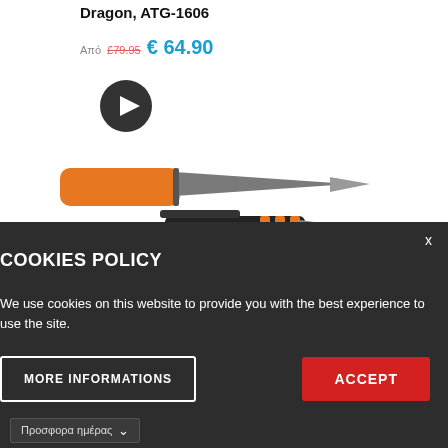Dragon, ATG-1606
Από £79.95 € 64.90
[Figure (photo): Play button icon (dark circular button with white triangle)]
[Figure (photo): Orange and grey fixed-blade knife (Mora Garberg style) shown from the side, plus a partial view of a second knife with black and orange handle below]
COOKIES POLICY
We use cookies on this website to provide you with the best experience to use the site.
MORE INFORMATIONS
ACCEPT
Προσφορα ημέρας